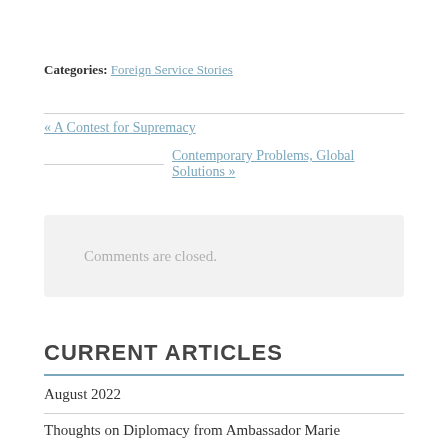Categories: Foreign Service Stories
« A Contest for Supremacy
Contemporary Problems, Global Solutions »
Comments are closed.
CURRENT ARTICLES
August 2022
Thoughts on Diplomacy from Ambassador Marie